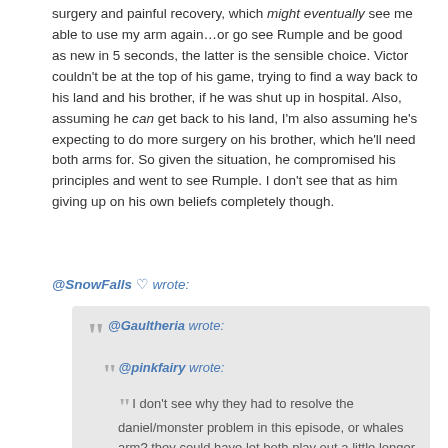surgery and painful recovery, which might eventually see me able to use my arm again…or go see Rumple and be good as new in 5 seconds, the latter is the sensible choice. Victor couldn't be at the top of his game, trying to find a way back to his land and his brother, if he was shut up in hospital. Also, assuming he can get back to his land, I'm also assuming he's expecting to do more surgery on his brother, which he'll need both arms for. So given the situation, he compromised his principles and went to see Rumple. I don't see that as him giving up on his own beliefs completely though.
@SnowFalls ♡ wrote:
@Gaultheria wrote:
@pinkfairy wrote:
I don't see why they had to resolve the daniel/monster problem in this episode, or whales arm? they could have let both play out a little longer (tortured regina a little longer? ).